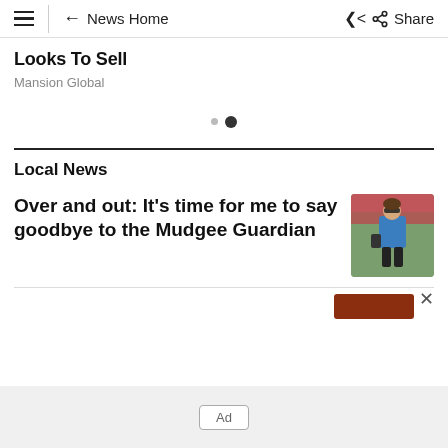News Home   Share
Looks To Sell
Mansion Global
• (carousel dots)
Local News
Over and out: It's time for me to say goodbye to the Mudgee Guardian
[Figure (photo): Person standing outdoors wearing blue top and black pants, at what appears to be an outdoor event.]
Ad